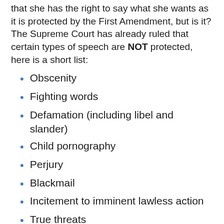that she has the right to say what she wants as it is protected by the First Amendment, but is it? The Supreme Court has already ruled that certain types of speech are NOT protected, here is a short list:
Obscenity
Fighting words
Defamation (including libel and slander)
Child pornography
Perjury
Blackmail
Incitement to imminent lawless action
True threats
Solicitations to commit crimes
Notice the third bullet point? Some of the